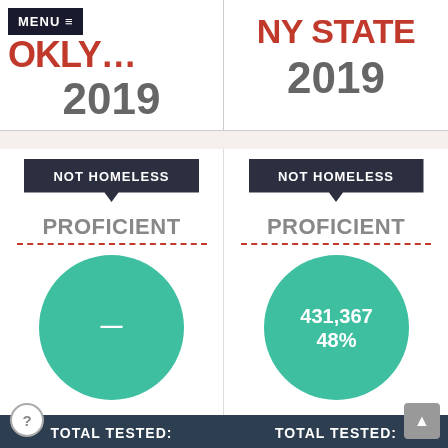MENU ≡ BROKLY... NY STATE
2019
NY STATE 2019
NOT HOMELESS
PROFICIENT
[Figure (pie-chart): Teal circle with dash, indicating suppressed/unavailable data]
NOT HOMELESS
PROFICIENT
[Figure (pie-chart): Not Homeless Proficient - NY State 2019]
TOTAL TESTED:
TOTAL TESTED: